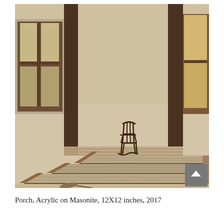[Figure (illustration): A painting of a porch scene. A rocking chair sits between two wooden columns on a porch. To the left is a window on the exterior wall. To the right is another window/door. Wide wooden steps descend from the porch in perspective. The palette is sepia/warm tan tones with dark brown structural elements. Painted in an impressionistic realist style.]
Porch, Acrylic on Masonite, 12X12 inches, 2017